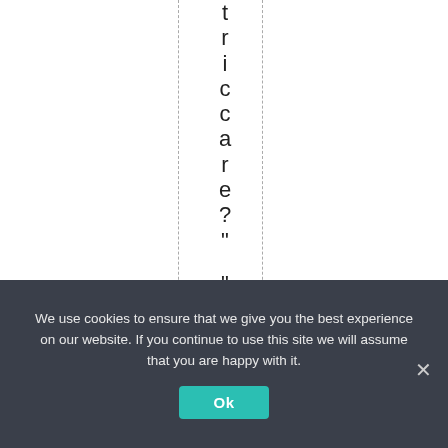tricare?"
"Electri
We use cookies to ensure that we give you the best experience on our website. If you continue to use this site we will assume that you are happy with it.